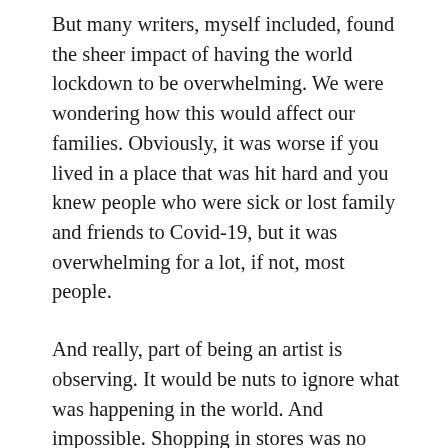But many writers, myself included, found the sheer impact of having the world lockdown to be overwhelming. We were wondering how this would affect our families. Obviously, it was worse if you lived in a place that was hit hard and you knew people who were sick or lost family and friends to Covid-19, but it was overwhelming for a lot, if not, most people.
And really, part of being an artist is observing. It would be nuts to ignore what was happening in the world. And impossible. Shopping in stores was no longer possible. When it was, there was often a more limited array of options than previously. That, in itself, was strange to most, was many